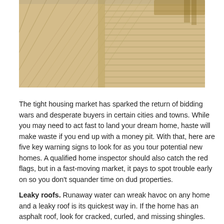[Figure (photo): Photo of a wooden deck with light-colored planks laid in diagonal and parallel patterns, with wooden furniture visible in the upper right corner.]
The tight housing market has sparked the return of bidding wars and desperate buyers in certain cities and towns. While you may need to act fast to land your dream home, haste will make waste if you end up with a money pit. With that, here are five key warning signs to look for as you tour potential new homes. A qualified home inspector should also catch the red flags, but in a fast-moving market, it pays to spot trouble early on so you don't squander time on dud properties.
Leaky roofs. Runaway water can wreak havoc on any home and a leaky roof is its quickest way in. If the home has an asphalt roof, look for cracked, curled, and missing shingles. Gutters, downspouts, and leader pipes should also be in place to collect